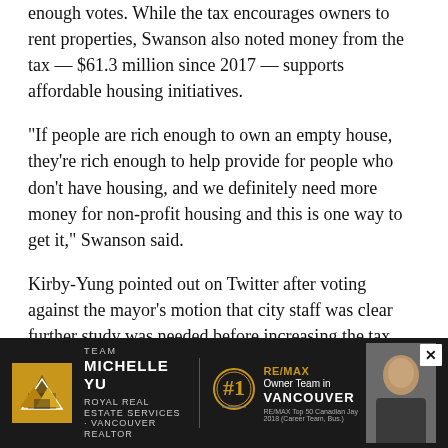enough votes. While the tax encourages owners to rent properties, Swanson also noted money from the tax — $61.3 million since 2017 — supports affordable housing initiatives.
"If people are rich enough to own an empty house, they're rich enough to help provide for people who don't have housing, and we definitely need more money for non-profit housing and this is one way to get it," Swanson said.
Kirby-Yung pointed out on Twitter after voting against the mayor's motion that city staff was clear further study was needed before increasing the tax, citing unintended consequences for property owners also subject to the B.C. government's speculation tax.
"Another point to consider," she wrote. "It's rare to see City of Vancouver staff not recommending a tax or fee increase. So
[Figure (advertisement): Team Michelle Yu RE/MAX advertisement banner with logo, #1 Owner Team in Vancouver badge, and agent photo]